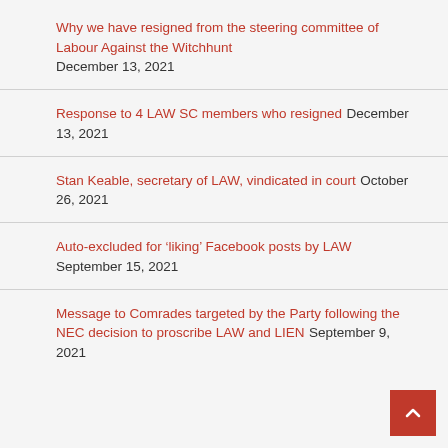Why we have resigned from the steering committee of Labour Against the Witchhunt December 13, 2021
Response to 4 LAW SC members who resigned December 13, 2021
Stan Keable, secretary of LAW, vindicated in court October 26, 2021
Auto-excluded for ‘liking’ Facebook posts by LAW September 15, 2021
Message to Comrades targeted by the Party following the NEC decision to proscribe LAW and LIEN September 9, 2021